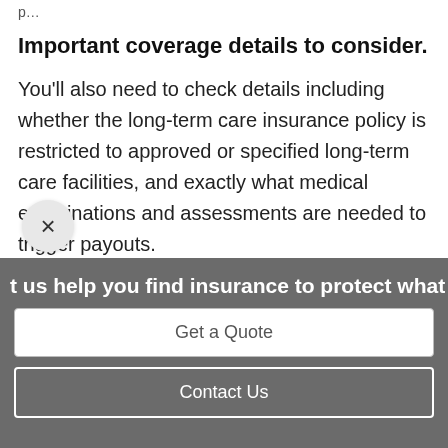p…
Important coverage details to consider.
You'll also need to check details including whether the long-term care insurance policy is restricted to approved or specified long-term care facilities, and exactly what medical examinations and assessments are needed to trigger payouts.
t us help you find insurance to protect what ma
Get a Quote
Contact Us